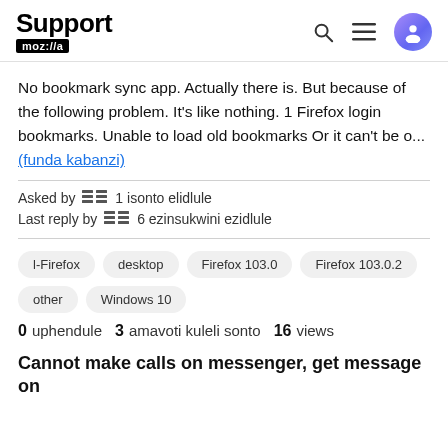Support moz://a
No bookmark sync app. Actually there is. But because of the following problem. It's like nothing. 1 Firefox login bookmarks. Unable to load old bookmarks Or it can't be o... (funda kabanzi)
Asked by [user icon] 1 isonto elidlule
Last reply by [user icon] 6 ezinsukwini ezidlule
l-Firefox  desktop  Firefox 103.0  Firefox 103.0.2  other  Windows 10
0 uphendule  3 amavoti kuleli sonto  16 views
Cannot make calls on messenger, get message on